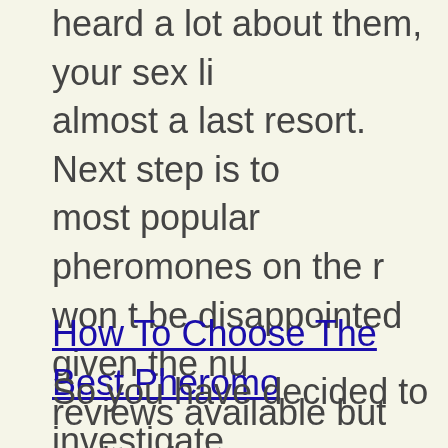So you want to give those pheromones a try? You've heard a lot about them, your sex life has become almost a last resort. Next step is to check out the most popular pheromones on the market. You won t be disappointed given the number of reviews available but seriously, you wonder if a cologne or perfume is the answer for you? Time... Read More ▶
How To Choose The Best Pheromones
So you have decided to investigate the pheromones phenomenom. Do you understand pheromones and their role in human behaviour?